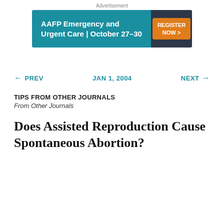Advertisement
[Figure (other): AAFP Emergency and Urgent Care | October 27-30 advertisement banner with teal background and orange Register Now button]
← PREV   JAN 1, 2004   NEXT →
TIPS FROM OTHER JOURNALS
From Other Journals
Does Assisted Reproduction Cause Spontaneous Abortion?